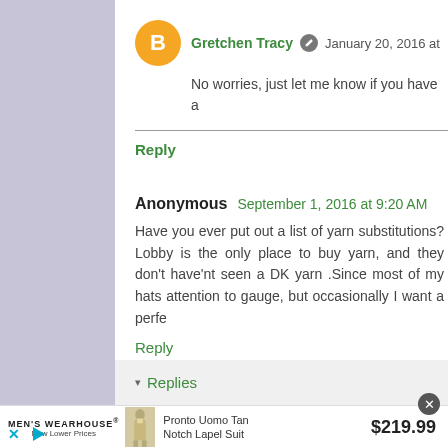Gretchen Tracy  January 20, 2016 at
No worries, just let me know if you have a
Reply
Anonymous  September 1, 2016 at 9:20 AM
Have you ever put out a list of yarn substitutions? Lobby is the only place to buy yarn, and they don't have'nt seen a DK yarn .Since most of my hats attention to gauge, but occasionally I want a perfe
Reply
Replies
[Figure (screenshot): Ad banner for Men's Wearhouse showing Pronto Uomo Tan Notch Lapel Suit for $219.99]